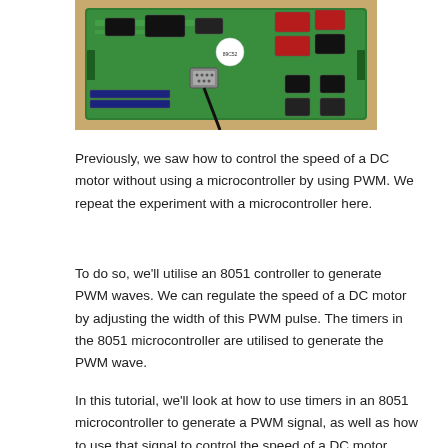[Figure (photo): Photo of a green microcontroller/development board placed on a wooden surface. The board has various ICs, connectors, and a DB9 serial port connector with a cable attached.]
Previously, we saw how to control the speed of a DC motor without using a microcontroller by using PWM. We repeat the experiment with a microcontroller here.
To do so, we’ll utilise an 8051 controller to generate PWM waves. We can regulate the speed of a DC motor by adjusting the width of this PWM pulse. The timers in the 8051 microcontroller are utilised to generate the PWM wave.
In this tutorial, we’ll look at how to use timers in an 8051 microcontroller to generate a PWM signal, as well as how to use that signal to control the speed of a DC motor.